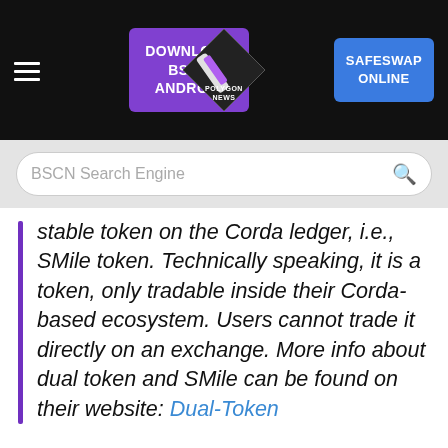DOWNLOAD BSCN ANDROID | POLYGON NEWS | SAFESWAP ONLINE
BSCN Search Engine
stable token on the Corda ledger, i.e., SMile token. Technically speaking, it is a token, only tradable inside their Corda-based ecosystem. Users cannot trade it directly on an exchange. More info about dual token and SMile can be found on their website: Dual-Token